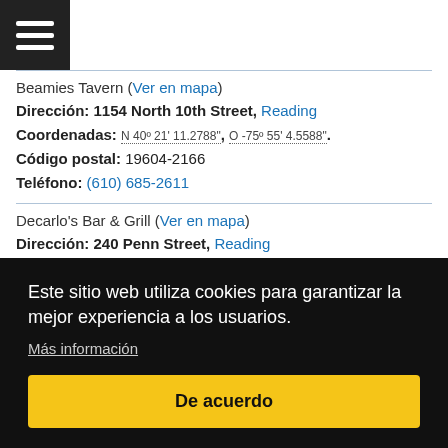[Figure (other): Hamburger menu icon (three horizontal white lines on black background)]
Beamies Tavern (Ver en mapa)
Dirección: 1154 North 10th Street, Reading
Coordenadas: N 40º 21' 11.2788" , O -75º 55' 4.5588" .
Código postal: 19604-2166
Teléfono: (610) 685-2611
Decarlo's Bar & Grill (Ver en mapa)
Dirección: 240 Penn Street, Reading
Este sitio web utiliza cookies para garantizar la mejor experiencia a los usuarios.
Más información
De acuerdo